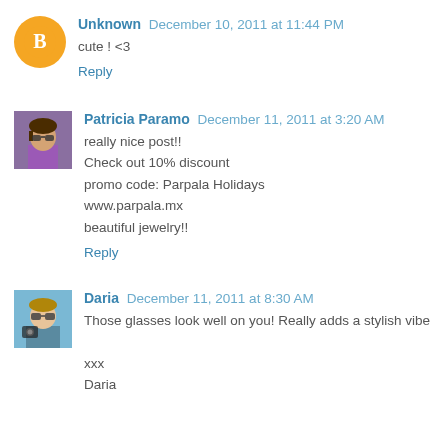Unknown December 10, 2011 at 11:44 PM
cute ! <3
Reply
Patricia Paramo December 11, 2011 at 3:20 AM
really nice post!!
Check out 10% discount
promo code: Parpala Holidays
www.parpala.mx
beautiful jewelry!!
Reply
Daria December 11, 2011 at 8:30 AM
Those glasses look well on you! Really adds a stylish vibe

xxx
Daria